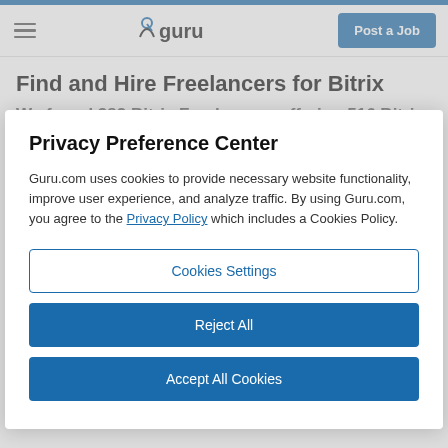guru — Post a Job
Find and Hire Freelancers for Bitrix
We found 382 Bitrix Freelancers offering 516 Bitrix
Privacy Preference Center
Guru.com uses cookies to provide necessary website functionality, improve user experience, and analyze traffic. By using Guru.com, you agree to the Privacy Policy which includes a Cookies Policy.
Cookies Settings
Reject All
Accept All Cookies